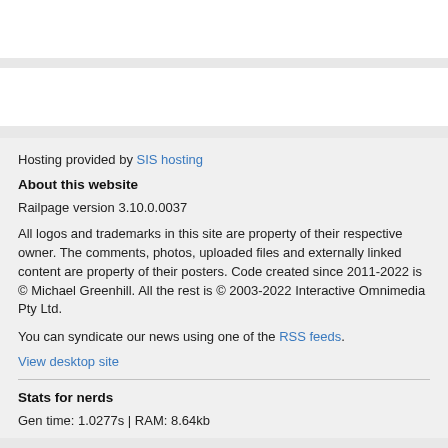Hosting provided by SIS hosting
About this website
Railpage version 3.10.0.0037
All logos and trademarks in this site are property of their respective owner. The comments, photos, uploaded files and externally linked content are property of their posters. Code created since 2011-2022 is © Michael Greenhill. All the rest is © 2003-2022 Interactive Omnimedia Pty Ltd.
You can syndicate our news using one of the RSS feeds.
View desktop site
Stats for nerds
Gen time: 1.0277s | RAM: 8.64kb